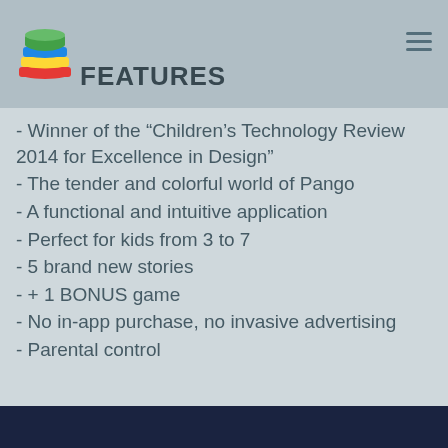FEATURES
- Winner of the “Children’s Technology Review 2014 for Excellence in Design”
- The tender and colorful world of Pango
- A functional and intuitive application
- Perfect for kids from 3 to 7
- 5 brand new stories
- + 1 BONUS game
- No in-app purchase, no invasive advertising
- Parental control